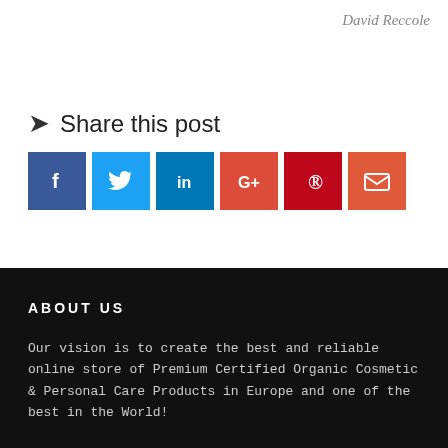David Reccole
Share this post
[Figure (infographic): Social sharing buttons: Facebook (blue), Twitter (light blue), LinkedIn (dark blue), Google+ (red), Pinterest (dark red), Email (orange-red)]
ABOUT US
Our vision is to create the best and reliable online store of Premium Certified Organic Cosmetic & Personal Care Products in Europe and one of the best in the World!
The product selection is designed to appeal to a variety of